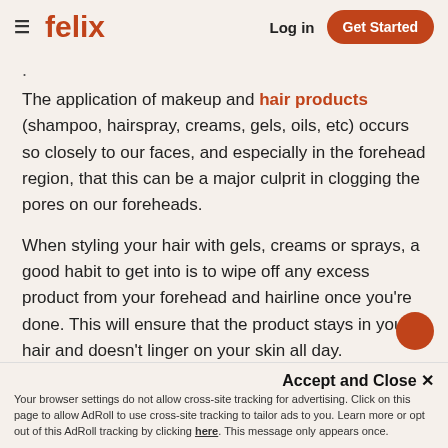≡ felix   Log in   Get Started
The application of makeup and hair products (shampoo, hairspray, creams, gels, oils, etc) occurs so closely to our faces, and especially in the forehead region, that this can be a major culprit in clogging the pores on our foreheads.
When styling your hair with gels, creams or sprays, a good habit to get into is to wipe off any excess product from your forehead and hairline once you're done. This will ensure that the product stays in your hair and doesn't linger on your skin all day.
Accept and Close ✕
Your browser settings do not allow cross-site tracking for advertising. Click on this page to allow AdRoll to use cross-site tracking to tailor ads to you. Learn more or opt out of this AdRoll tracking by clicking here. This message only appears once.